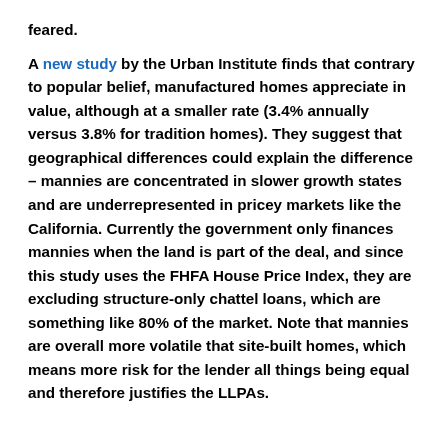feared.
A new study by the Urban Institute finds that contrary to popular belief, manufactured homes appreciate in value, although at a smaller rate (3.4% annually versus 3.8% for tradition homes). They suggest that geographical differences could explain the difference – mannies are concentrated in slower growth states and are underrepresented in pricey markets like the California. Currently the government only finances mannies when the land is part of the deal, and since this study uses the FHFA House Price Index, they are excluding structure-only chattel loans, which are something like 80% of the market. Note that mannies are overall more volatile that site-built homes, which means more risk for the lender all things being equal and therefore justifies the LLPAs.